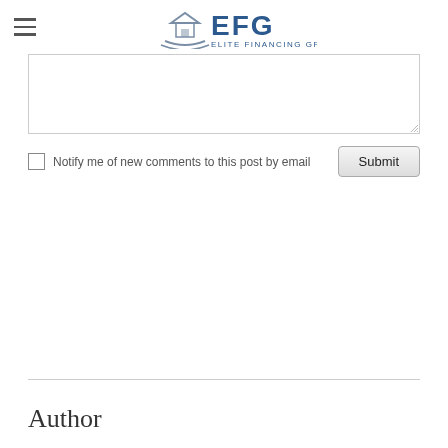EFG Elite Financing Group
[Comment textarea]
Notify me of new comments to this post by email
Submit
Author